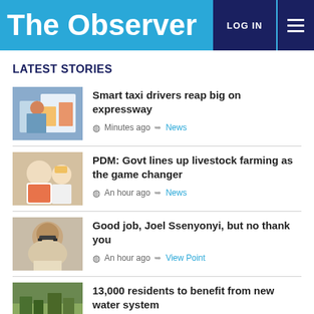The Observer | LOG IN
LATEST STORIES
Smart taxi drivers reap big on expressway | Minutes ago | News
PDM: Govt lines up livestock farming as the game changer | An hour ago | News
Good job, Joel Ssenyonyi, but no thank you | An hour ago | View Point
13,000 residents to benefit from new water system